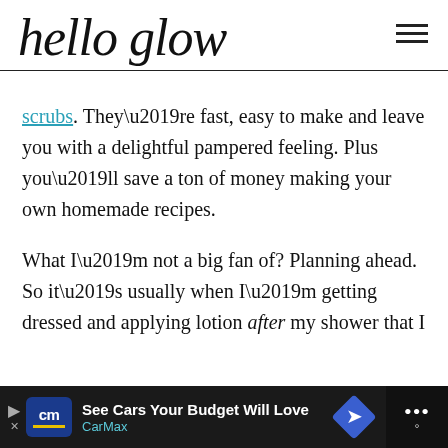hello glow
scrubs. They’re fast, easy to make and leave you with a delightful pampered feeling. Plus you’ll save a ton of money making your own homemade recipes.

What I’m not a big fan of? Planning ahead. So it’s usually when I’m getting dressed and applying lotion after my shower that I
[Figure (screenshot): CarMax advertisement banner at the bottom of the page. Dark background with CarMax logo, text 'See Cars Your Budget Will Love' and 'CarMax', a blue diamond navigation icon, and a partially visible icon on the right.]